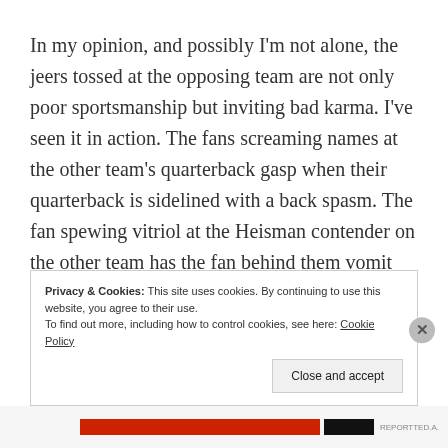In my opinion, and possibly I'm not alone, the jeers tossed at the opposing team are not only poor sportsmanship but inviting bad karma. I've seen it in action. The fans screaming names at the other team's quarterback gasp when their quarterback is sidelined with a back spasm. The fan spewing vitriol at the Heisman contender on the other team has the fan behind them vomit down their back. You never know how your behavior will impact others and how the cosmos will
Privacy & Cookies: This site uses cookies. By continuing to use this website, you agree to their use.
To find out more, including how to control cookies, see here: Cookie Policy

Close and accept